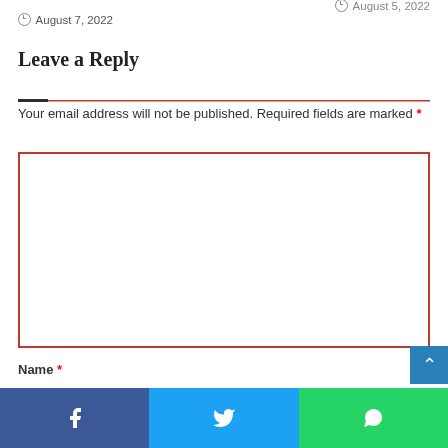August 5, 2022
August 7, 2022
Leave a Reply
Your email address will not be published. Required fields are marked *
Name *